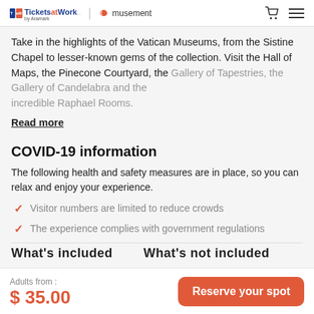Tickets at Work | musement
Take in the highlights of the Vatican Museums, from the Sistine Chapel to lesser-known gems of the collection. Visit the Hall of Maps, the Pinecone Courtyard, the Gallery of Tapestries, the Gallery of Candelabra and the incredible Raphael Rooms.
Read more
COVID-19 information
The following health and safety measures are in place, so you can relax and enjoy your experience.
Visitor numbers are limited to reduce crowds
The experience complies with government regulations
Adults from : $ 35.00  Reserve your spot